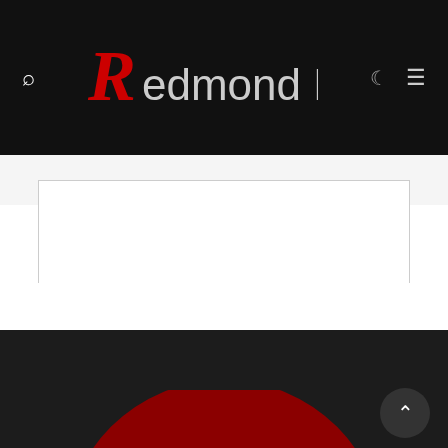Redmond Pie
[Figure (screenshot): White advertisement placeholder box with thin border]
SHOW COMMENTS (10)
[Figure (logo): Redmond Pie logo - large red circle visible in dark footer area with back-to-top button]